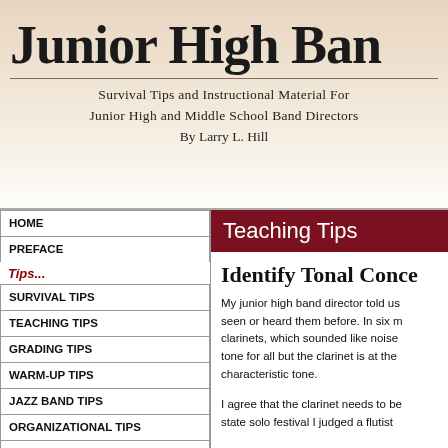Junior High Band
Survival Tips and Instructional Material For Junior High and Middle School Band Directors
By Larry L. Hill
HOME
PREFACE
Tips...
SURVIVAL TIPS
TEACHING TIPS
GRADING TIPS
WARM-UP TIPS
JAZZ BAND TIPS
ORGANIZATIONAL TIPS
CONDUCTING TIPS
TESTING TIPS
REHEARSAL TIPS
PROGRAM SURVIVAL TIPS
Teaching Tips
Identify Tonal Conce
My junior high band director told us seen or heard them before. In six m clarinets, which sounded like noise tone for all but the clarinet is at the characteristic tone.
I agree that the clarinet needs to be state solo festival I judged a flutist